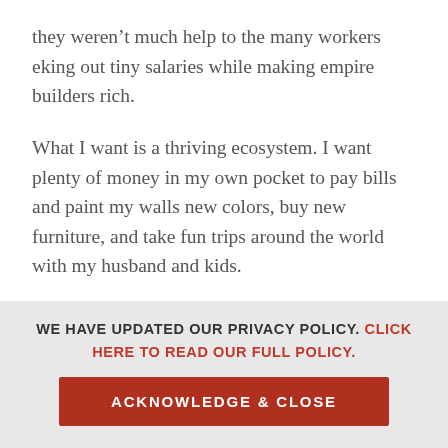they weren't much help to the many workers eking out tiny salaries while making empire builders rich.
What I want is a thriving ecosystem. I want plenty of money in my own pocket to pay bills and paint my walls new colors, buy new furniture, and take fun trips around the world with my husband and kids.
But I also want plenty of money in my employees' pockets, and in my clients' pockets, and in their neighbors' pockets, and in the pockets of every person walking down the street, and in the city and state coffers everywhere. I want software companies to be...
WE HAVE UPDATED OUR PRIVACY POLICY. CLICK HERE TO READ OUR FULL POLICY.
ACKNOWLEDGE & CLOSE